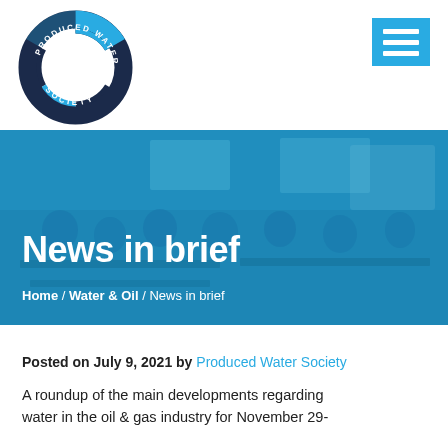[Figure (logo): Produced Water Society circular logo with blue and dark navy arrow segments and white circle center]
[Figure (other): Blue square hamburger menu icon with three white horizontal bars]
[Figure (photo): Banner photo of a conference room with attendees seated at tables, overlaid with blue tint]
News in brief
Home / Water & Oil / News in brief
Posted on July 9, 2021 by Produced Water Society
A roundup of the main developments regarding water in the oil & gas industry for November 29-